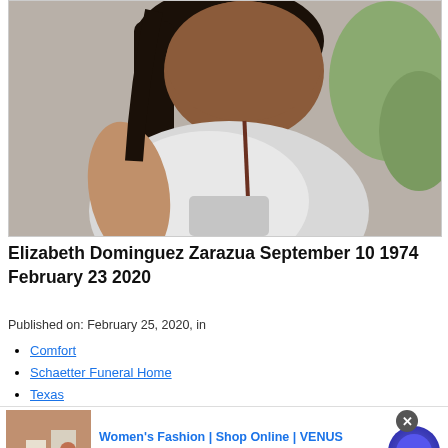[Figure (photo): Photo of Elizabeth Dominguez Zarazua, a woman in a white t-shirt with dark hair and a lanyard, photographed outdoors]
Elizabeth Dominguez Zarazua September 10 1974 February 23 2020
Published on: February 25, 2020, in
Comfort
Schaetter Funeral Home
Texas
[Figure (advertisement): Ad banner: Women's Fashion | Shop Online | VENUS — Shop the best in women's fashion, clothing, swimwear — venus.com]